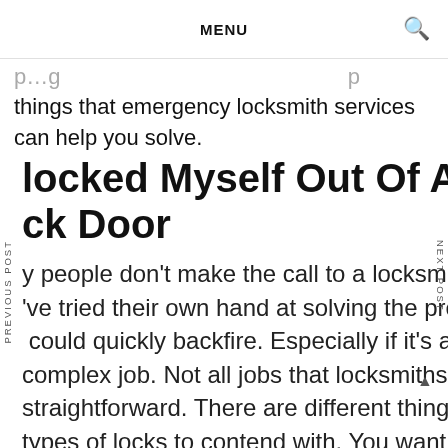MENU
things that emergency locksmith services can help you solve.
locked Myself Out Of A Complex Lock Door
Many people don't make the call to a locksmith until they've tried their own hand at solving the problem. This could quickly backfire. Especially if it's a complex job. Not all jobs that locksmiths are tasked with doing are going to be completely straightforward. There are different things that come into play. Also, there are different types of locks to contend with. You want to make sure that